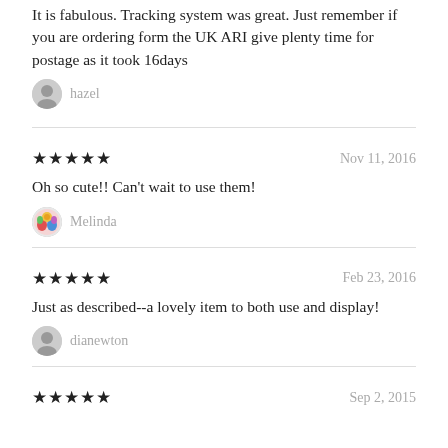It is fabulous. Tracking system was great. Just remember if you are ordering form the UK ARI give plenty time for postage as it took 16days
hazel
★★★★★  Nov 11, 2016
Oh so cute!! Can't wait to use them!
Melinda
★★★★★  Feb 23, 2016
Just as described--a lovely item to both use and display!
dianewton
★★★★★  Sep 2, 2015